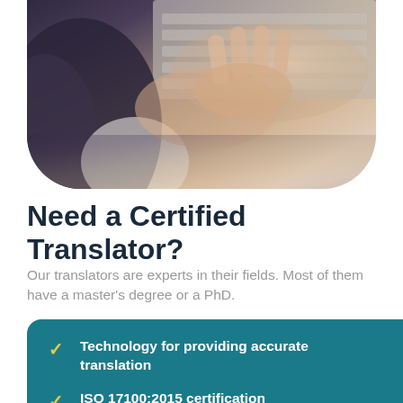[Figure (photo): Close-up photo of hands typing on a keyboard, partially visible, with a dark jacket sleeve visible on the left and light skin hands on the right.]
Need a Certified Translator?
Our translators are experts in their fields. Most of them have a master's degree or a PhD.
Technology for providing accurate translation
ISO 17100:2015 certification